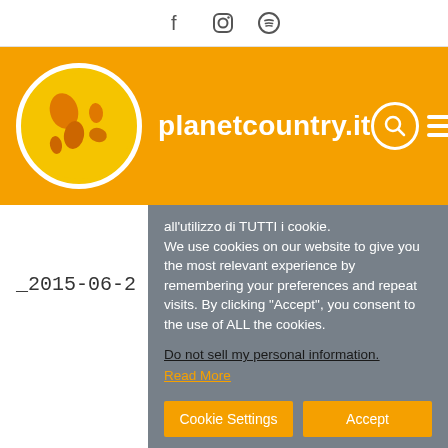Social icons: Facebook, Instagram, Spotify
[Figure (logo): planetcountry.it website header with orange background, globe logo, site title, search and hamburger menu icons]
_2015-06-2
all'utilizzo di TUTTI i cookie. We use cookies on our website to give you the most relevant experience by remembering your preferences and repeat visits. By clicking "Accept", you consent to the use of ALL the cookies. Do not sell my personal information. Read More
Cookie Settings  Accept